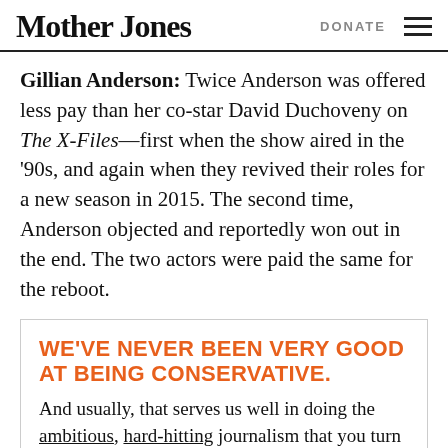Mother Jones | DONATE
Gillian Anderson: Twice Anderson was offered less pay than her co-star David Duchoveny on The X-Files—first when the show aired in the '90s, and again when they revived their roles for a new season in 2015. The second time, Anderson objected and reportedly won out in the end. The two actors were paid the same for the reboot.
WE'VE NEVER BEEN VERY GOOD AT BEING CONSERVATIVE.
And usually, that serves us well in doing the ambitious, hard-hitting journalism that you turn to Mother Jones for. But it also means we can't afford to come up short when it comes to